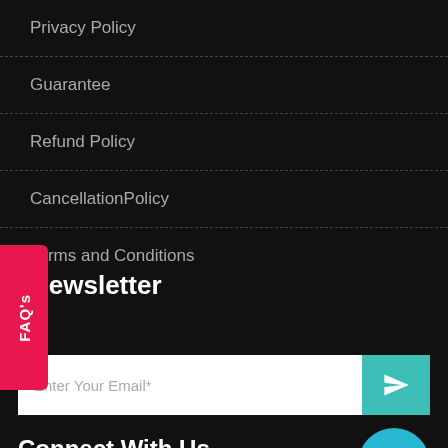Privacy Policy
Guarantee
Refund Policy
CancellationPolicy
Terms and Conditions
Newsletter
Enter Your Email*
Connect With Us